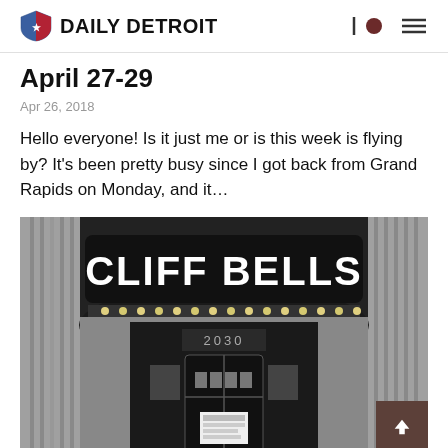DAILY DETROIT
April 27-29
Apr 26, 2018
Hello everyone! Is it just me or is this week is flying by? It's been pretty busy since I got back from Grand Rapids on Monday, and it...
[Figure (photo): Black and white photograph of the exterior entrance of Cliff Bells, a jazz club/restaurant in Detroit. The arched entrance shows the venue name 'CLIFF BELLS' in large block letters on a dark marquee. The address number 2030 is visible above the revolving door entrance. Show windows display posted flyers/menus.]